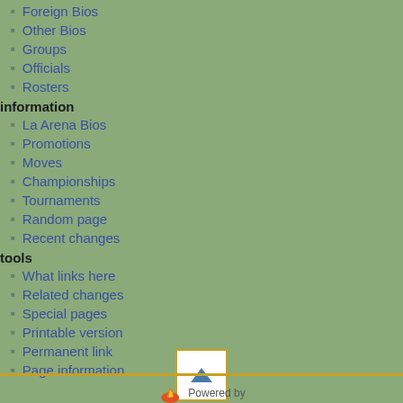Foreign Bios
Other Bios
Groups
Officials
Rosters
information
La Arena Bios
Promotions
Moves
Championships
Tournaments
Random page
Recent changes
tools
What links here
Related changes
Special pages
Printable version
Permanent link
Page information
[Figure (other): Scroll to top button with upward triangle arrow]
Powered by